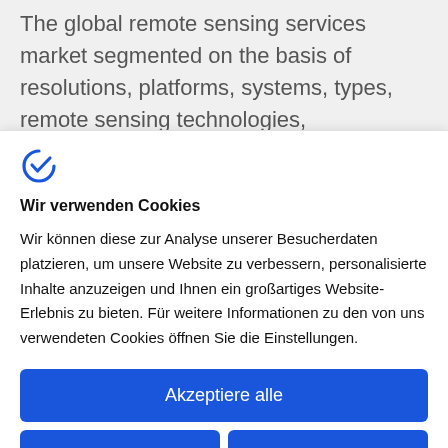The global remote sensing services market segmented on the basis of resolutions, platforms, systems, types, remote sensing technologies, applications, and users, and
[Figure (logo): Blue circular arrow/checkmark logo icon]
Wir verwenden Cookies
Wir können diese zur Analyse unserer Besucherdaten platzieren, um unsere Website zu verbessern, personalisierte Inhalte anzuzeigen und Ihnen ein großartiges Website-Erlebnis zu bieten. Für weitere Informationen zu den von uns verwendeten Cookies öffnen Sie die Einstellungen.
Akzeptiere alle
Ablehnen
Nein, passen Sie an